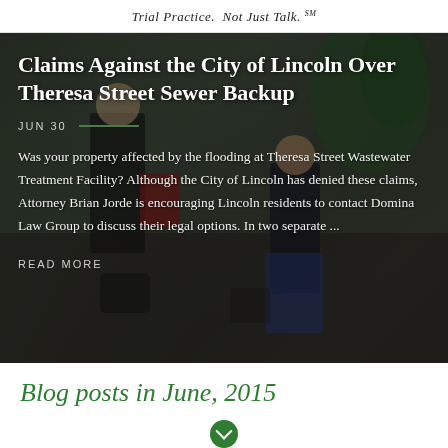Trial Practice.  Not Just Talk. ℠
[Figure (photo): Overhead view of two people in professional attire, one signing a document, in a lobby or office setting with dark/green tones]
Claims Against the City of Lincoln Over Theresa Street Sewer Backup
JUN 30
Was your property affected by the flooding at Theresa Street Wastewater Treatment Facility? Although the City of Lincoln has denied these claims, Attorney Brian Jorde is encouraging Lincoln residents to contact Domina Law Group to discuss their legal options. In two separate ...
READ MORE
Blog posts in June, 2015